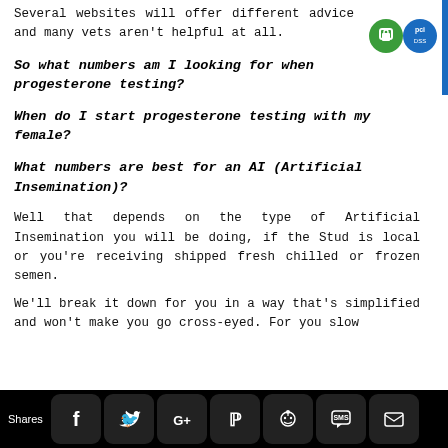Several websites will offer different advice and many vets aren't helpful at all.
So what numbers am I looking for when progesterone testing?
When do I start progesterone testing with my female?
What numbers are best for an AI (Artificial Insemination)?
Well that depends on the type of Artificial Insemination you will be doing, if the Stud is local or you're receiving shipped fresh chilled or frozen semen.
We'll break it down for you in a way that's simplified and won't make you go cross-eyed. For you slow
Shares [social icons: Facebook, Twitter, Google+, Pinterest, Reddit, SMS, Email]
[Figure (logo): Green padlock security badge and PCI compliance badge in top right corner]